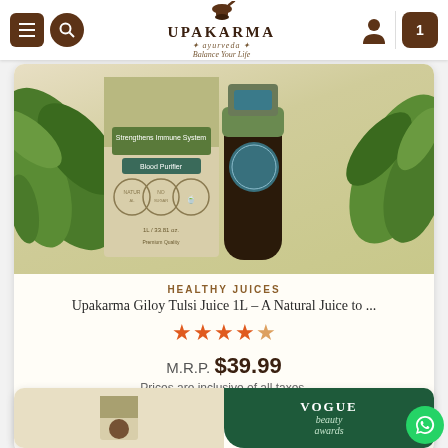UPAKARMA ayurveda — Balance Your Life
[Figure (photo): Upakarma Giloy Tulsi Juice 1L product box and bottle with green leaves background]
HEALTHY JUICES
Upakarma Giloy Tulsi Juice 1L – A Natural Juice to ...
★★★★★ (4.5 stars)
M.R.P. $39.99
Prices are inclusive of all taxes.
ADD TO CART
[Figure (photo): Second product card showing a product box and VOGUE beauty awards badge]